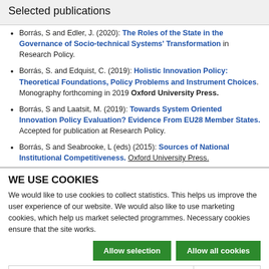Selected publications
Borrás, S and Edler, J. (2020): The Roles of the State in the Governance of Socio-technical Systems' Transformation in Research Policy.
Borrás, S. and Edquist, C. (2019): Holistic Innovation Policy: Theoretical Foundations, Policy Problems and Instrument Choices. Monography forthcoming in 2019 Oxford University Press.
Borrás, S and Laatsit, M. (2019): Towards System Oriented Innovation Policy Evaluation? Evidence From EU28 Member States. Accepted for publication at Research Policy.
Borrás, S and Seabrooke, L (eds) (2015): Sources of National Institutional Competitiveness. Oxford University Press.
WE USE COOKIES
We would like to use cookies to collect statistics. This helps us improve the user experience of our website. We would also like to use marketing cookies, which help us market selected programmes. Necessary cookies ensure that the site works.